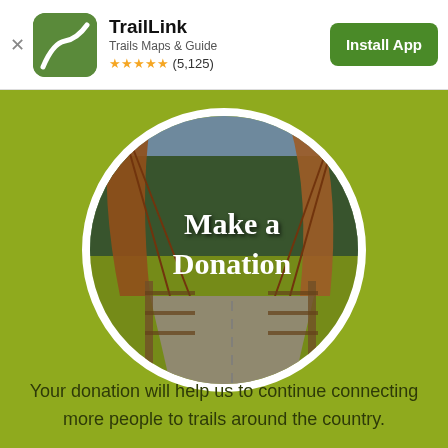TrailLink – Trails Maps & Guide ★★★★★ (5,125) | Install App
[Figure (photo): Circular photo of a wooden bridge trail path with 'Make a Donation' text overlay, on an olive-green background]
Your donation will help us to continue connecting more people to trails around the country.